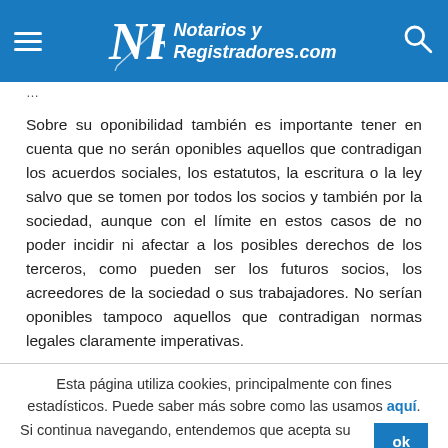Notarios y Registradores.com
Sobre su oponibilidad también es importante tener en cuenta que no serán oponibles aquellos que contradigan los acuerdos sociales, los estatutos, la escritura o la ley salvo que se tomen por todos los socios y también por la sociedad, aunque con el límite en estos casos de no poder incidir ni afectar a los posibles derechos de los terceros, como pueden ser los futuros socios, los acreedores de la sociedad o sus trabajadores. No serían oponibles tampoco aquellos que contradigan normas legales claramente imperativas.
Esta página utiliza cookies, principalmente con fines estadísticos. Puede saber más sobre como las usamos aquí. Si continua navegando, entendemos que acepta su uso.